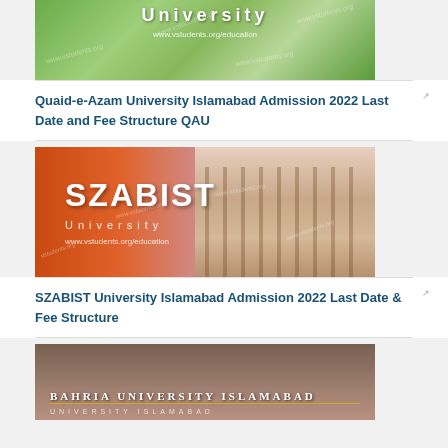[Figure (photo): Quaid-e-Azam University campus photo with greenery and watermark www.vstudents.org/education]
Quaid-e-Azam University Islamabad Admission 2022 Last Date and Fee Structure QAU
[Figure (photo): SZABIST University banner with orange and purple tones showing building and logo with www.vstudents.org/education watermark]
SZABIST University Islamabad Admission 2022 Last Date & Fee Structure
[Figure (photo): Bahria University Islamabad building photo with text BAHRIA UNIVERSITY ISLAMABAD]